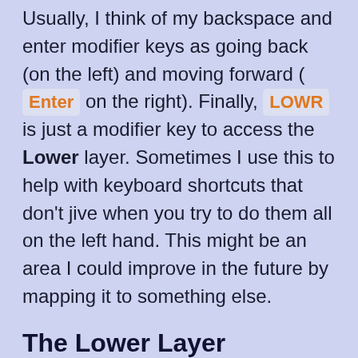Usually, I think of my backspace and enter modifier keys as going back (on the left) and moving forward ( Enter on the right). Finally, LOWR is just a modifier key to access the Lower layer. Sometimes I use this to help with keyboard shortcuts that don't jive when you try to do them all on the left hand. This might be an area I could improve in the future by mapping it to something else.
The Lower Layer
[Figure (screenshot): Code block showing keyboard layout definition starting with [_LOWER] = LAYOUT_kc( and a commented line of dashes]